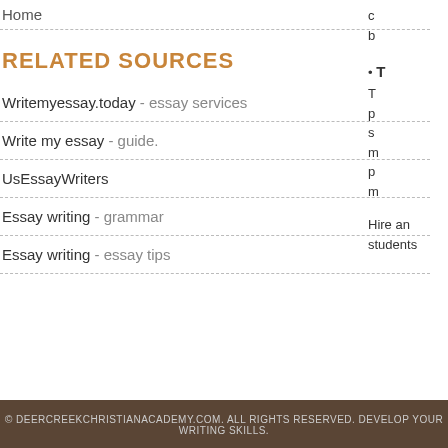Home
RELATED SOURCES
Writemyessay.today - essay services
Write my essay - guide.
UsEssayWriters
Essay writing - grammar
Essay writing - essay tips
T
T p s m p m
Hire an students
© DEERCREEKCHRISTIANACADEMY.COM. ALL RIGHTS RESERVED. DEVELOP YOUR WRITING SKILLS.